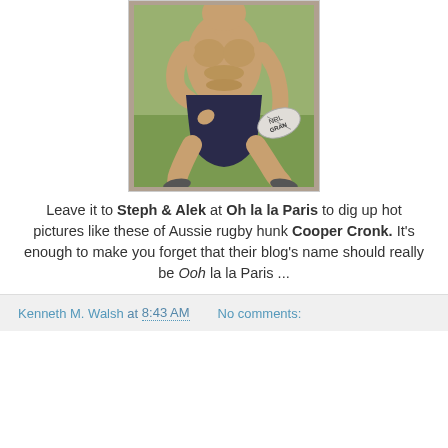[Figure (photo): Shirtless muscular man kneeling on grass holding a rugby ball, wearing dark shorts]
Leave it to Steph & Alek at Oh la la Paris to dig up hot pictures like these of Aussie rugby hunk Cooper Cronk. It's enough to make you forget that their blog's name should really be Ooh la la Paris ...
Kenneth M. Walsh at 8:43 AM   No comments: